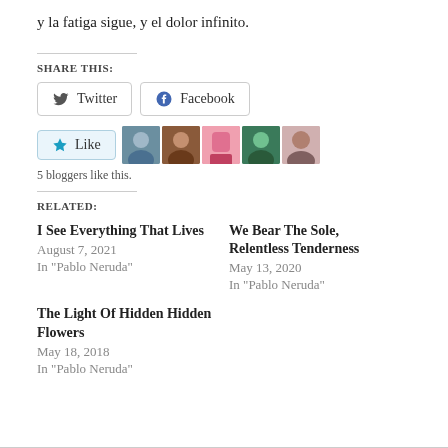y la fatiga sigue, y el dolor infinito.
SHARE THIS:
Twitter  Facebook
[Figure (other): Like button with star icon and 5 blogger avatars]
5 bloggers like this.
RELATED:
I See Everything That Lives
August 7, 2021
In "Pablo Neruda"
We Bear The Sole, Relentless Tenderness
May 13, 2020
In "Pablo Neruda"
The Light Of Hidden Flowers
May 18, 2018
In "Pablo Neruda"